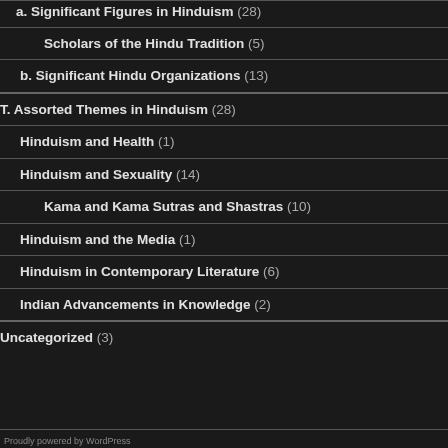a. Significant Figures in Hinduism (28)
Scholars of the Hindu Tradition (5)
b. Significant Hindu Organizations (13)
T. Assorted Themes in Hinduism (28)
Hinduism and Health (1)
Hinduism and Sexuality (14)
Kama and Kama Sutras and Shastras (10)
Hinduism and the Media (1)
Hinduism in Contemporary Literature (6)
Indian Advancements in Knowledge (2)
Uncategorized (3)
Proudly powered by WordPress